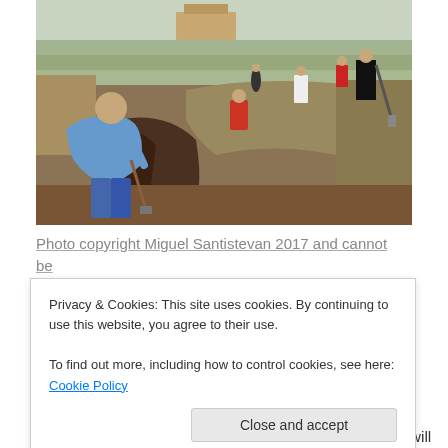[Figure (photo): Outdoor photo of people digging a trench in a field with dry grass. In the foreground, a man in a blue shirt bends over digging with a shovel. A child in a red hoodie stands in the middle, and several more people with shovels are visible in the background. A building is visible in the far background.]
Photo copyright Miguel Santistevan 2017 and cannot be used without permission.
Privacy & Cookies: This site uses cookies. By continuing to use this website, you agree to their use.
To find out more, including how to control cookies, see here: Cookie Policy
here. "If you don't like the weather, give it 5 minutes, it will